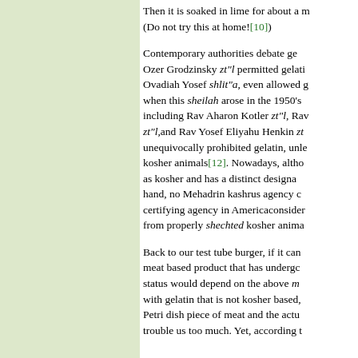Then it is soaked in lime for about a month. (Do not try this at home![10])
Contemporary authorities debate gelatin. Ozer Grodzinsky zt"l permitted gelatin. Ovadiah Yosef shlit"a, even allowed gelatin when this sheilah arose in the 1950's including Rav Aharon Kotler zt"l, Rav zt"l,and Rav Yosef Eliyahu Henkin zt" unequivocally prohibited gelatin, unless from kosher animals[12]. Nowadays, although as kosher and has a distinct designation, on the other hand, no Mehadrin kashrus agency certifying agency in America considers from properly shechted kosher animals.
Back to our test tube burger, if it can be called a meat based product that has undergone processing, its status would depend on the above machlokes. As with gelatin that is not kosher based, some compare the Petri dish piece of meat and the actual trouble us too much. Yet, according to